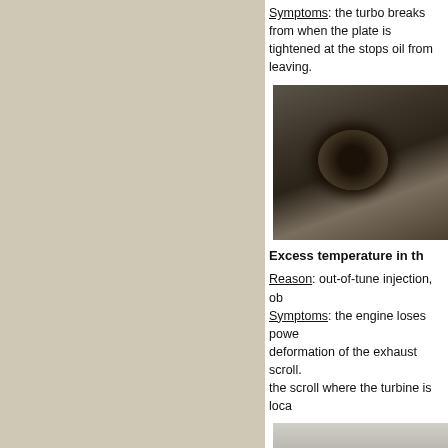Symptoms: the turbo breaks from the bearing housing when the plate is tightened at the oil outlet side which stops oil from leaving.
[Figure (photo): Close-up photo of a damaged turbocharger bearing housing showing oil outlet plate area with dark oily residue and wear marks.]
Excess temperature in the
Reason: out-of-tune injection, ob...
Symptoms: the engine loses power... deformation of the exhaust scroll. ...the scroll where the turbine is loca...
[Figure (photo): Close-up photo of a turbocharger turbine shaft showing metallic golden/brass colored shaft with threaded end and turbine wheel partially visible.]